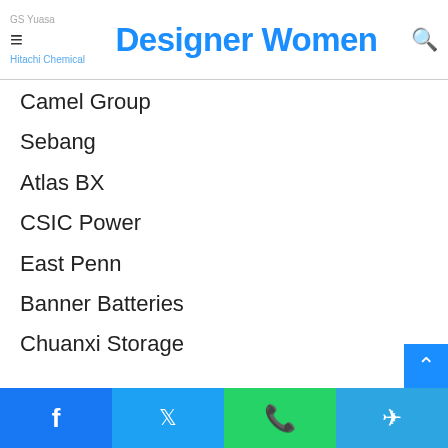Designer Women
Camel Group
Sebang
Atlas BX
CSIC Power
East Penn
Banner Batteries
Chuanxi Storage
Exide Industries
Ruiyu Battery
Amara Raja
Product Types of the Automotive Flooded Battery mark are as follows: